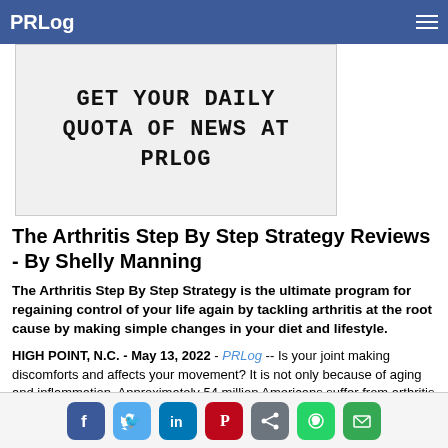PRLog
[Figure (other): Banner advertisement reading: GET YOUR DAILY QUOTA OF NEWS AT PRLOG in monospace bold text on light grey background]
The Arthritis Step By Step Strategy Reviews - By Shelly Manning
The Arthritis Step By Step Strategy is the ultimate program for regaining control of your life again by tackling arthritis at the root cause by making simple changes in your diet and lifestyle.
HIGH POINT, N.C. - May 13, 2022 - PRLog -- Is your joint making discomforts and affects your movement? It is not only because of aging and inflammation. Approximately 54 million Americans suffer from arthritis so bad that it affects their daily activities, according to studies.
[Figure (infographic): Social sharing icons row: Facebook, Twitter, LinkedIn, Pinterest, Share, WhatsApp, Email]